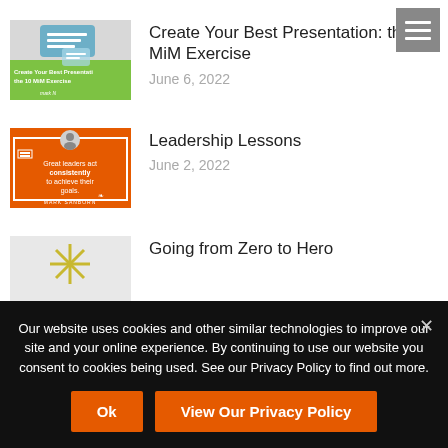[Figure (screenshot): Green presentation thumbnail with speech bubble icon and text 'Create Your Best Presentation: the 10 MiM Exercise']
Create Your Best Presentation: the 10 MiM Exercise
June 6, 2022
[Figure (screenshot): Orange leadership thumbnail with quote text 'Great leaders act consistently to achieve their goals' and Mark Sanborn branding]
Leadership Lessons
June 2, 2022
[Figure (screenshot): Grey thumbnail with gold/yellow starburst/asterisk graphic]
Going from Zero to Hero
Our website uses cookies and other similar technologies to improve our site and your online experience. By continuing to use our website you consent to cookies being used. See our Privacy Policy to find out more.
Ok
View Our Privacy Policy